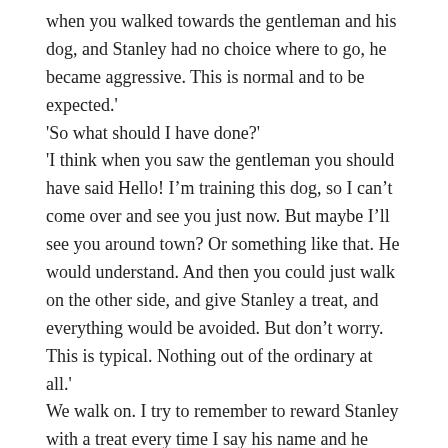when you walked towards the gentleman and his dog, and Stanley had no choice where to go, he became aggressive. This is normal and to be expected.' 'So what should I have done?' 'I think when you saw the gentleman you should have said Hello! I'm training this dog, so I can't come over and see you just now. But maybe I'll see you around town? Or something like that. He would understand. And then you could just walk on the other side, and give Stanley a treat, and everything would be avoided. But don't worry. This is typical. Nothing out of the ordinary at all.' We walk on. I try to remember to reward Stanley with a treat every time I say his name and he looks at me. 'Good!' says Adina. 'You're both doing good.'